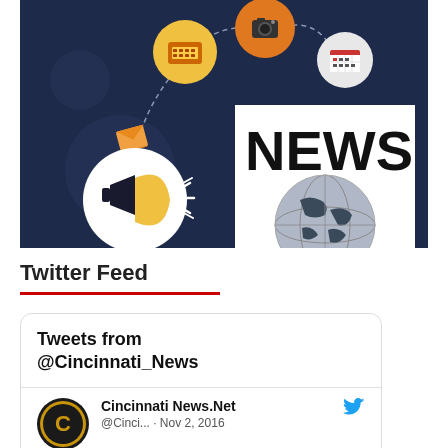[Figure (illustration): Infographic with dark navy background showing media/news icons (typewriter, camera, calendar, envelope, megaphone) connected by dashed lines, alongside a newspaper graphic with 'NEWS' text and a globe illustration]
Twitter Feed
Tweets from @Cincinnati_News
Cincinnati News.Net @Cinci... · Nov 2, 2016